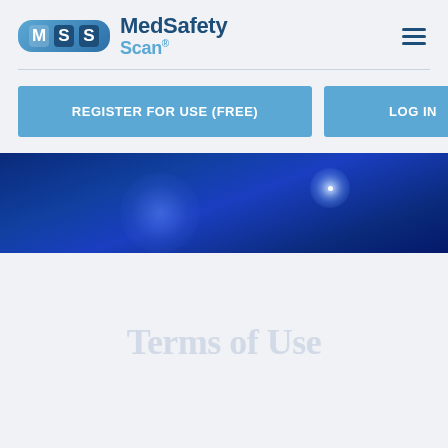[Figure (logo): MedSafety Scan logo with pill-shaped badge containing letters M, S, S and brand name text]
[Figure (other): Hamburger menu icon (three horizontal lines)]
REGISTER FOR USE (FREE)
LOG IN
[Figure (illustration): Dark blue banner with glowing light effects]
Terms of Use